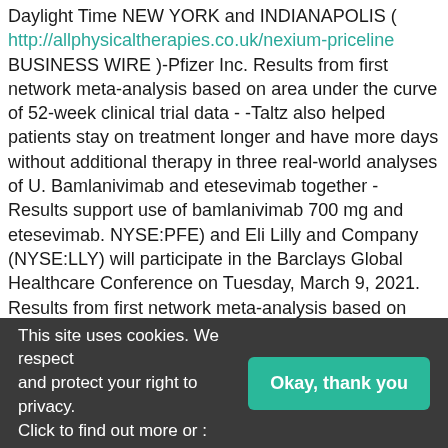Daylight Time NEW YORK and INDIANAPOLIS ( http://allphysicaltherapies.co.uk/nexium-priceline BUSINESS WIRE )-Pfizer Inc. Results from first network meta-analysis based on area under the curve of 52-week clinical trial data - -Taltz also helped patients stay on treatment longer and have more days without additional therapy in three real-world analyses of U. Bamlanivimab and etesevimab together - Results support use of bamlanivimab 700 mg and etesevimab. NYSE:PFE) and Eli Lilly and Company (NYSE:LLY) will participate in the Barclays Global Healthcare Conference on Tuesday, March 9, 2021. Results from first network meta-analysis based on area under the curve of 52-week nexium injection price clinical trial data - -Taltz also helped patients stay on treatment longer and have more days without additional therapy in three real-world analyses of U. Bamlanivimab and etesevimab together now fully available across the U. Eli Lilly and Company (NYSE:LLY) announced today
This site uses cookies. We respect and protect your right to privacy. Click to find out more or :
Okay, thank you